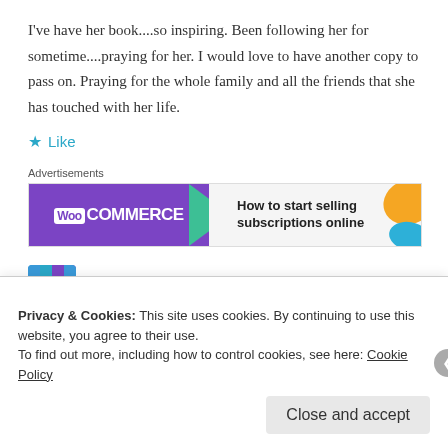I've have her book....so inspiring. Been following her for sometime....praying for her. I would love to have another copy to pass on. Praying for the whole family and all the friends that she has touched with her life.
★ Like
Advertisements
[Figure (other): WooCommerce advertisement banner: purple background on left with WooCommerce logo and green arrow, white/grey background on right with text 'How to start selling subscriptions online' and orange decorative shape]
Brandy Davis  January 6, 2015 at 9:32 pm  Reply
Privacy & Cookies: This site uses cookies. By continuing to use this website, you agree to their use.
To find out more, including how to control cookies, see here: Cookie Policy